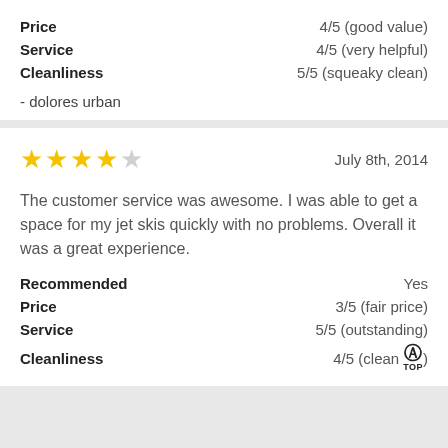Price — 4/5 (good value)
Service — 4/5 (very helpful)
Cleanliness — 5/5 (squeaky clean)
- dolores urban
★★★★☆  July 8th, 2014
The customer service was awesome. I was able to get a space for my jet skis quickly with no problems. Overall it was a great experience.
Recommended — Yes
Price — 3/5 (fair price)
Service — 5/5 (outstanding)
Cleanliness — 4/5 (clean)